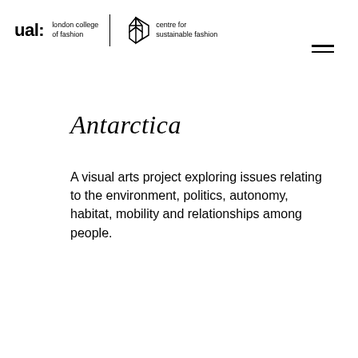ual: london college of fashion | centre for sustainable fashion
Antarctica
A visual arts project exploring issues relating to the environment, politics, autonomy, habitat, mobility and relationships among people.